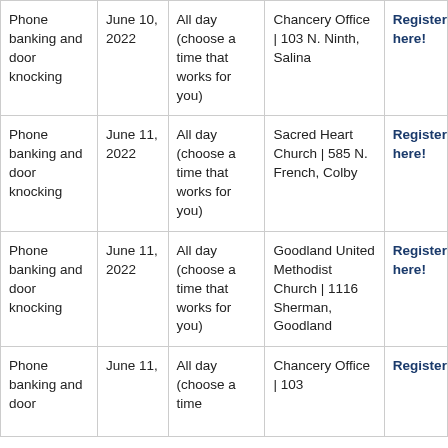| Phone banking and door knocking | June 10, 2022 | All day (choose a time that works for you) | Chancery Office | 103 N. Ninth, Salina | Register here! |
| Phone banking and door knocking | June 11, 2022 | All day (choose a time that works for you) | Sacred Heart Church | 585 N. French, Colby | Register here! |
| Phone banking and door knocking | June 11, 2022 | All day (choose a time that works for you) | Goodland United Methodist Church | 1116 Sherman, Goodland | Register here! |
| Phone banking and door | June 11, | All day (choose a time | Chancery Office | 103 | Register |